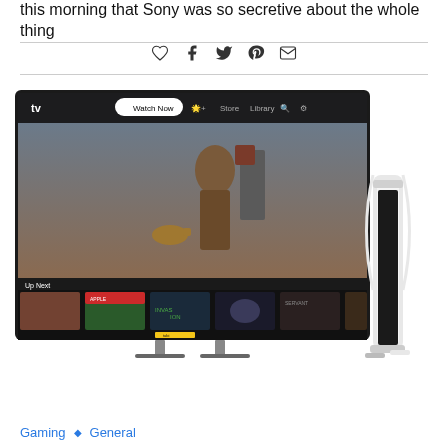this morning that Sony was so secretive about the whole thing
[Figure (screenshot): Screenshot of Apple TV app interface showing 'A Man Called Otto' movie with Tom Hanks, with Up Next row showing thumbnails of various shows. A PS5 console appears to the right of the TV screen.]
Gaming ◇ General